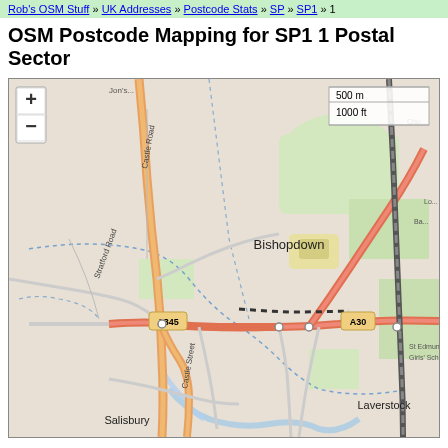Rob's OSM Stuff » UK Addresses » Postcode Stats » SP » SP1 » 1
OSM Postcode Mapping for SP1 1 Postal Sector
[Figure (map): OpenStreetMap tile showing SP1 1 postal sector around Salisbury, UK. Shows roads including A345, A30, Castle Road, Stratford Road, Castle Street, areas including Bishopdown, Laverstock, Salisbury. Zoom controls (+/-) on upper left, scale bar showing 500m/1000ft on upper right. Road network with orange/red highlighted major roads, dotted blue boundary lines.]